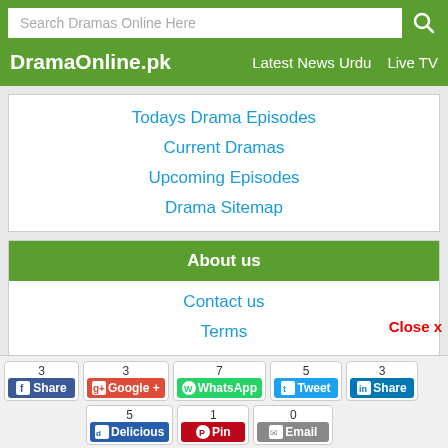Search Dramas Online Here
DramaOnline.pk
Latest News Urdu  Live TV
Todays Drama Episodes
Current Dramas
Upcoming Episodes
Drama Sitemap
About us
Contact us
Terms
DMCA
Privacy Policy
Subscribe Rss Feed
3 Share | 3 Google + | 7 WhatsApp | 5 Tweet | 3 Share | 5 Delicious | 1 Pin | 0 Email